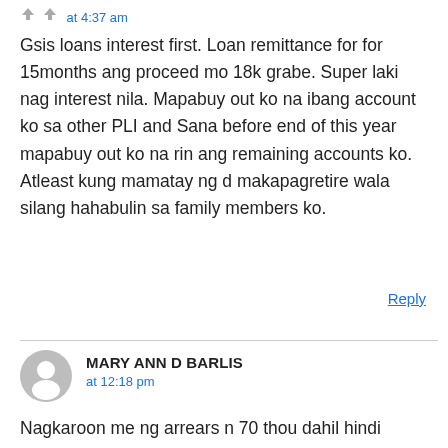at 4:37 am
Gsis loans interest first. Loan remittance for for 15months ang proceed mo 18k grabe. Super laki nag interest nila. Mapabuy out ko na ibang account ko sa other PLI and Sana before end of this year mapabuy out ko na rin ang remaining accounts ko. Atleast kung mamatay ng d makapagretire wala silang hahabulin sa family members ko.
Reply
MARY ANN D BARLIS
at 12:18 pm
Nagkaroon me ng arrears n 70 thou dahil hindi